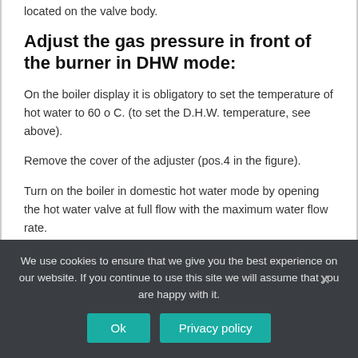located on the valve body.
Adjust the gas pressure in front of the burner in DHW mode:
On the boiler display it is obligatory to set the temperature of hot water to 60 o C. (to set the D.H.W. temperature, see above).
Remove the cover of the adjuster (pos.4 in the figure).
Turn on the boiler in domestic hot water mode by opening the hot water valve at full flow with the maximum water flow rate.
We use cookies to ensure that we give you the best experience on our website. If you continue to use this site we will assume that you are happy with it.